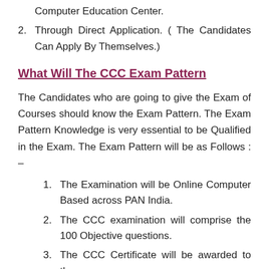Computer Education Center.
Through Direct Application.  ( The Candidates Can Apply By Themselves.)
What Will The CCC Exam Pattern
The Candidates who are going to give the Exam of Courses should know the Exam Pattern. The Exam Pattern Knowledge is very essential to be Qualified in the Exam. The Exam Pattern will be as Follows : –
The Examination will be Online Computer Based across PAN India.
The CCC examination will comprise the 100 Objective questions.
The CCC Certificate will be awarded to those